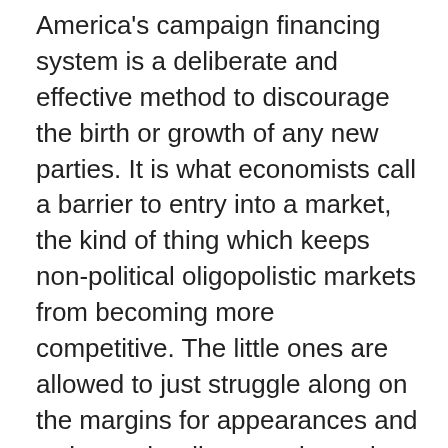America's campaign financing system is a deliberate and effective method to discourage the birth or growth of any new parties. It is what economists call a barrier to entry into a market, the kind of thing which keeps non-political oligopolistic markets from becoming more competitive. The little ones are allowed to just struggle along on the margins for appearances and owing to the disproportionately high cost of eliminating them too.
Most of the noise and intensity of American elections is just hollow, but it is the kind of stuff to which Americans are exposed in their economic life, day-in or day-out, so for ordinary people without the time to be well-informed, nothing could sound more normal.
That is what is so different about Trump. Despite his flaws and distasteful tendency to be a bigmouth, on some really